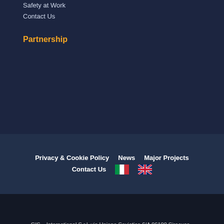Safety at Work
Contact Us
Partnership
Privacy & Cookie Policy   News   Major Projects   Contact Us
GIS – International S.r.l. via Unione Sovietica 6/A 96100 Siracusa - P.IVA 01323210896 - Tutti i diritti riservati | Web RedTomato ADV